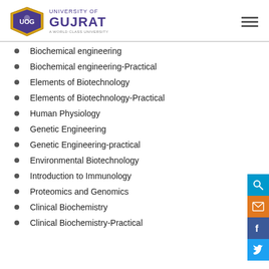[Figure (logo): University of Gujrat logo with UOG text and crest, purple and gold colors]
Biochemical engineering
Biochemical engineering-Practical
Elements of Biotechnology
Elements of Biotechnology-Practical
Human Physiology
Genetic Engineering
Genetic Engineering-practical
Environmental Biotechnology
Introduction to Immunology
Proteomics and Genomics
Clinical Biochemistry
Clinical Biochemistry-Practical